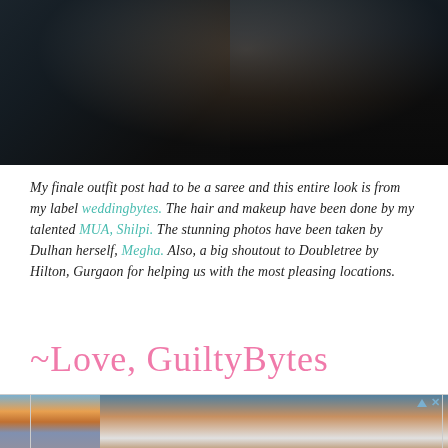[Figure (photo): Top portion of a photo showing a person in dark clothing against a blue/grey background with what appears to be a waterfront or marina setting]
My finale outfit post had to be a saree and this entire look is from my label weddingbytes. The hair and makeup have been done by my talented MUA, Shilpi. The stunning photos have been taken by Dulhan herself, Megha. Also, a big shoutout to Doubletree by Hilton, Gurgaon for helping us with the most pleasing locations.
~Love, GuiltyBytes
[Figure (photo): Advertisement banner showing a scenic coastal/Mediterranean location with white buildings at sunset or dusk, with a small advertisement icon in the top right corner]